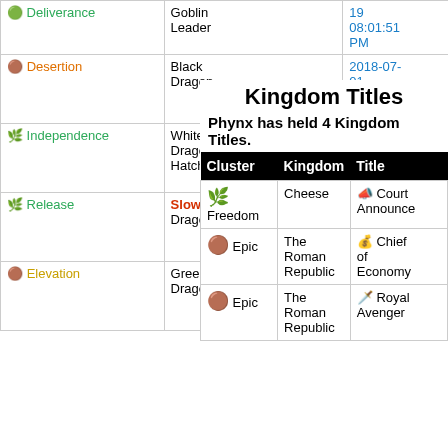| Achievement | Target | Date |
| --- | --- | --- |
| Deliverance | Goblin Leader | 19 08:01:51 PM |
| Desertion | Black Dragon | 2018-07-01 12:34:54 AM |
| Independence | White Dragon Hatchling | 2018-04-01 12:33:16 AM |
| Release | Slow Blue Dragon | 2017-11-23 06:42:07 AM |
| Elevation | Green Dragon | 2017-10-21 05:55:17 AM |
Kingdom Titles
Phynx has held 4 Kingdom Titles.
| Cluster | Kingdom | Title |
| --- | --- | --- |
| Freedom | Cheese | Court Announcer |
| Epic | The Roman Republic | Chief of Economy |
| Epic | The Roman Republic | Royal Avenger |